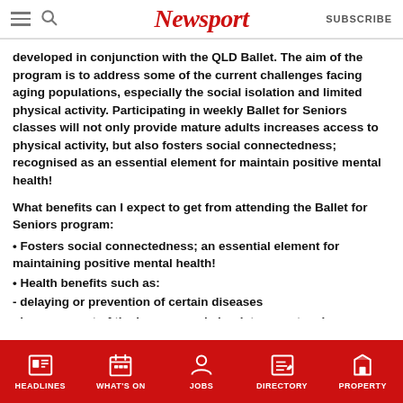Newsport | SUBSCRIBE
developed in conjunction with the QLD Ballet. The aim of the program is to address some of the current challenges facing aging populations, especially the social isolation and limited physical activity. Participating in weekly Ballet for Seniors classes will not only provide mature adults increases access to physical activity, but also fosters social connectedness; recognised as an essential element for maintain positive mental health!
What benefits can I expect to get from attending the Ballet for Seniors program:
• Fosters social connectedness; an essential element for maintaining positive mental health!
• Health benefits such as:
- delaying or prevention of certain diseases
- improvement of the immune and circulatory system i.e
HEADLINES | WHAT'S ON | JOBS | DIRECTORY | PROPERTY